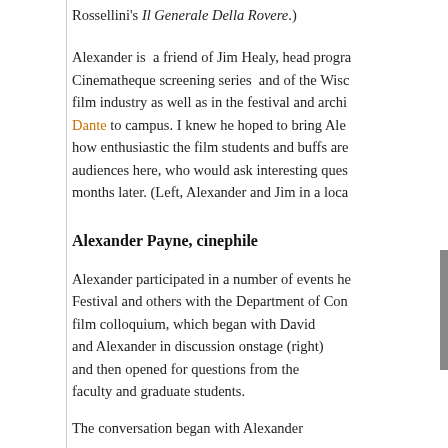Rossellini's Il Generale Della Rovere.)
Alexander is  a friend of Jim Healy, head progra... Cinematheque screening series  and of the Wisc... film industry as well as in the festival and archi... Dante to campus. I knew he hoped to bring Ale... how enthusiastic the film students and buffs are... audiences here, who would ask interesting ques... months later. (Left, Alexander and Jim in a loca...
Alexander Payne, cinephile
Alexander participated in a number of events he... Festival and others with the Department of Con... film colloquium, which began with David and Alexander in discussion onstage (right) and then opened for questions from the faculty and graduate students.
The conversation began with Alexander...